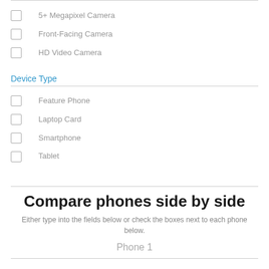5+ Megapixel Camera
Front-Facing Camera
HD Video Camera
Device Type
Feature Phone
Laptop Card
Smartphone
Tablet
Compare phones side by side
Either type into the fields below or check the boxes next to each phone below.
Phone 1